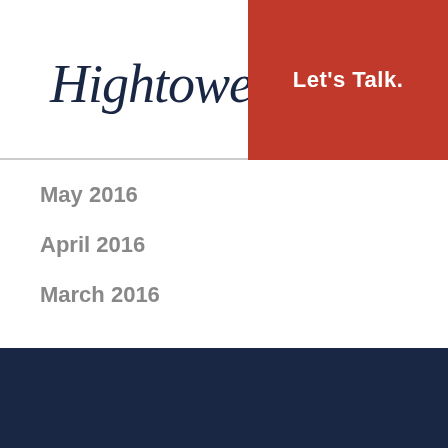[Figure (logo): Hightower cursive/script logo in dark navy]
Let's Talk.
May 2016
April 2016
March 2016